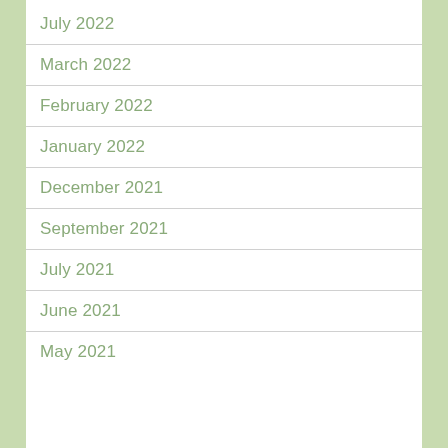July 2022
March 2022
February 2022
January 2022
December 2021
September 2021
July 2021
June 2021
May 2021